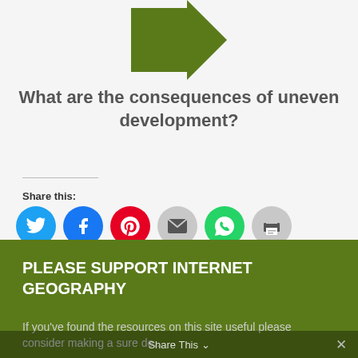[Figure (illustration): Green right-pointing arrow at the top of the page]
What are the consequences of uneven development?
Share this:
[Figure (infographic): Row of circular social share icons: Twitter (blue), Facebook (blue), Pinterest (red), Email (gray), WhatsApp (green), Print (gray)]
PLEASE SUPPORT INTERNET GEOGRAPHY
If you've found the resources on this site useful please consider making a sure de...